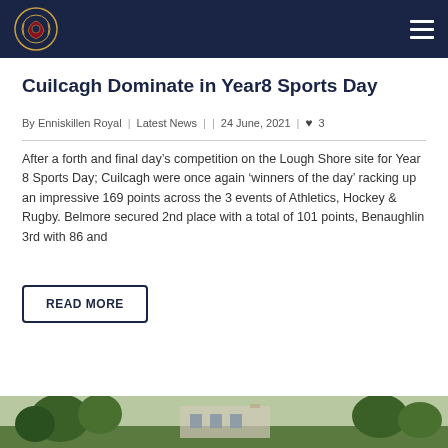Enniskillen Royal school website header with logo and navigation menu
Cuilcagh Dominate in Year8 Sports Day
By Enniskillen Royal | Latest News | | 24 June, 2021 | ♥ 3
After a forth and final day's competition on the Lough Shore site for Year 8 Sports Day; Cuilcagh were once again 'winners of the day' racking up an impressive 169 points across the 3 events of Athletics, Hockey & Rugby. Belmore secured 2nd place with a total of 101 points, Benaughlin 3rd with 86 and
READ MORE
[Figure (photo): Outdoor photo showing school grounds or sports area with trees and buildings in background]